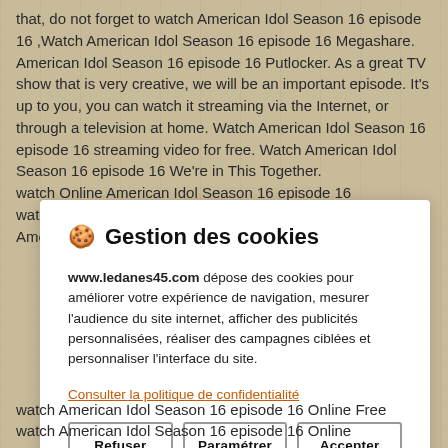that, do not forget to watch American Idol Season 16 episode 16 ,Watch American Idol Season 16 episode 16 Megashare. American Idol Season 16 episode 16 Putlocker. As a great TV show that is very creative, we will be an important episode. It's up to you, you can watch it streaming via the Internet, or through a television at home. Watch American Idol Season 16 episode 16 streaming video for free. Watch American Idol Season 16 episode 16 We're in This Together.
watch Online American Idol Season 16 episode 16
watch American Idol Season 16 episode 16
American Idol Season 16 episode 16 Putlocker.
[Figure (screenshot): Cookie consent dialog overlay with title 'Gestion des cookies', body text in French about www.ledanes45.com depositing cookies, a link 'Consulter la politique de confidentialité', and three buttons: Refuser, Paramétrer, Accepter.]
watch American Idol Season 16 episode 16 Online Free
watch American Idol Season 16 episode 16 Online